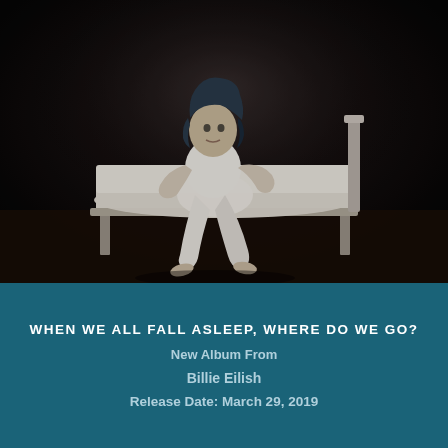[Figure (photo): Young woman with blue-black hair wearing white oversized clothing, sitting on the edge of a white bed frame against a dark background. This is the album cover art for Billie Eilish's debut album 'When We All Fall Asleep, Where Do We Go?']
WHEN WE ALL FALL ASLEEP, WHERE DO WE GO?
New Album From
Billie Eilish
Release Date: March 29, 2019